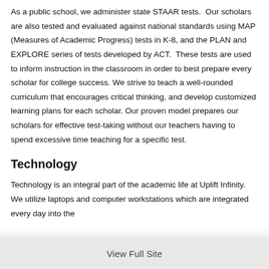As a public school, we administer state STAAR tests.  Our scholars are also tested and evaluated against national standards using MAP (Measures of Academic Progress) tests in K-8, and the PLAN and EXPLORE series of tests developed by ACT.  These tests are used to inform instruction in the classroom in order to best prepare every scholar for college success. We strive to teach a well-rounded curriculum that encourages critical thinking, and develop customized learning plans for each scholar. Our proven model prepares our scholars for effective test-taking without our teachers having to spend excessive time teaching for a specific test.
Technology
Technology is an integral part of the academic life at Uplift Infinity.  We utilize laptops and computer workstations which are integrated every day into the
View Full Site